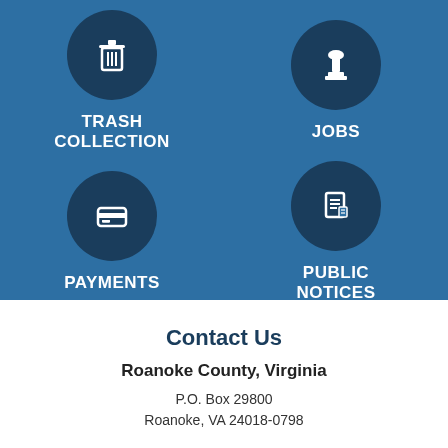[Figure (infographic): Blue background section with four icon buttons arranged in a 2x2 grid: Trash Collection (trash can icon), Jobs (stamp icon), Payments (credit card icon), Public Notices (document icon). Each icon is in a dark navy circle on a medium blue background, with white bold uppercase text labels below.]
Contact Us
Roanoke County, Virginia
P.O. Box 29800
Roanoke, VA 24018-0798